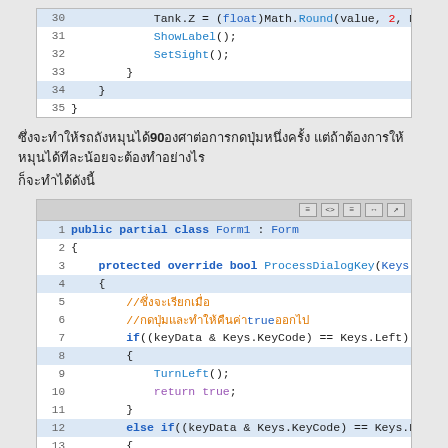[Figure (screenshot): Code block showing lines 30-35 of C# code with Tank.Z assignment, ShowLabel(), SetSight(), and closing braces]
ซึ่งจะทำให้รถถังหมุนได้90องศาต่อการกดปุ่มหนึ่งครั้ง แต่ถ้าต้องการให้หมุนได้ทีละน้อยจะต้องทำอย่างไร
ก็จะทำได้ดังนี้
[Figure (screenshot): Code block showing lines 1-17 of C# Form1 class with ProcessDialogKey method handling left and right arrow keys]